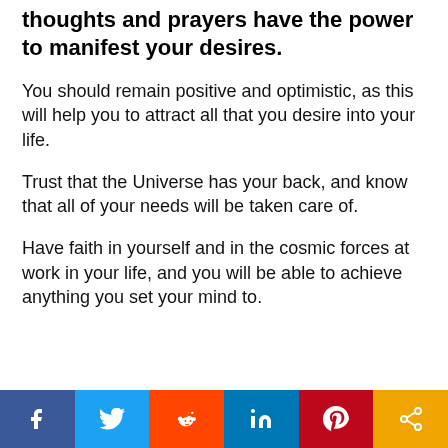thoughts and prayers have the power to manifest your desires.
You should remain positive and optimistic, as this will help you to attract all that you desire into your life.
Trust that the Universe has your back, and know that all of your needs will be taken care of.
Have faith in yourself and in the cosmic forces at work in your life, and you will be able to achieve anything you set your mind to.
[Figure (infographic): Social share bar with six colored buttons: Facebook (blue), Twitter (light blue), Reddit (orange-red), LinkedIn (blue), Pinterest (red), Share (orange/amber). Each button shows the platform icon in white.]